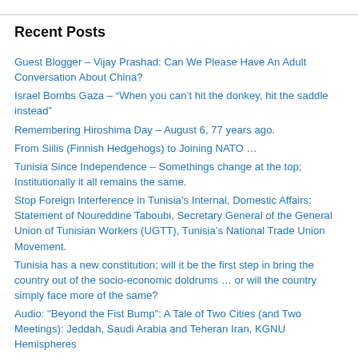Recent Posts
Guest Blogger – Vijay Prashad: Can We Please Have An Adult Conversation About China?
Israel Bombs Gaza – “When you can’t hit the donkey, hit the saddle instead”
Remembering Hiroshima Day – August 6, 77 years ago.
From Siilis (Finnish Hedgehogs) to Joining NATO …
Tunisia Since Independence – Somethings change at the top; Institutionally it all remains the same.
Stop Foreign Interference in Tunisia’s Internal, Domestic Affairs: Statement of Noureddine Taboubi, Secretary General of the General Union of Tunisian Workers (UGTT), Tunisia’s National Trade Union Movement.
Tunisia has a new constitution; will it be the first step in bring the country out of the socio-economic doldrums … or will the country simply face more of the same?
Audio: "Beyond the Fist Bump": A Tale of Two Cities (and Two Meetings): Jeddah, Saudi Arabia and Teheran Iran, KGNU Hemispheres